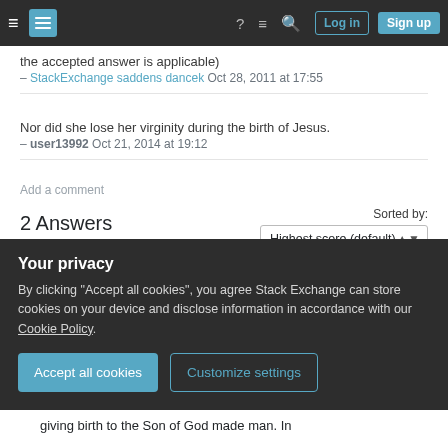Stack Exchange navigation bar with hamburger, logo, help, chat, search icons, Log in and Sign up buttons
the accepted answer is applicable)
– StackExchange saddens dancek Oct 28, 2011 at 17:55
Nor did she lose her virginity during the birth of Jesus. – user13992 Oct 21, 2014 at 19:12
Add a comment
2 Answers
Sorted by: Highest score (default)
From paragraph 499 in the Catechism of the Catholic
Your privacy
By clicking "Accept all cookies", you agree Stack Exchange can store cookies on your device and disclose information in accordance with our Cookie Policy.
Accept all cookies
Customize settings
giving birth to the Son of God made man. In